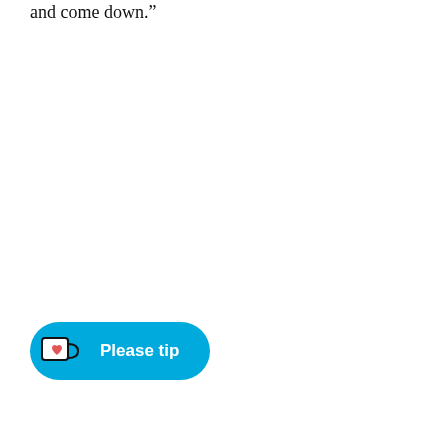and come down.”
[Figure (other): A cyan/blue rounded button with a Ko-fi style mug icon (white mug with red heart) and the text 'Please tip' in white bold font.]